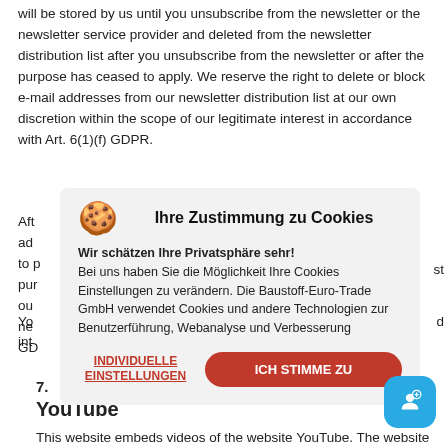will be stored by us until you unsubscribe from the newsletter or the newsletter service provider and deleted from the newsletter distribution list after you unsubscribe from the newsletter or after the purpose has ceased to apply. We reserve the right to delete or block e-mail addresses from our newsletter distribution list at our own discretion within the scope of our legitimate interest in accordance with Art. 6(1)(f) GDPR.
[Figure (screenshot): Cookie consent popup overlay with title 'Ihre Zustimmung zu Cookies', cookie emoji icon, body text in German about privacy and cookie settings, two buttons: 'INDIVIDUELLE EINSTELLUNGEN' (red underlined link) and 'ICH STIMME ZU' (red rounded button)]
7.
YouTube
This website embeds videos of the website YouTube. The website operator